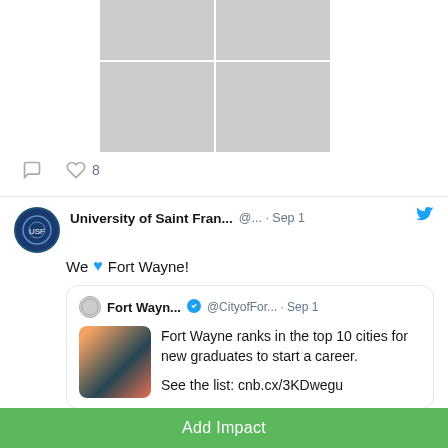[Figure (photo): Grid of 4 event photos: top-left shows person in red vestments at lectern, top-right shows audience, bottom-left shows three nuns laughing, bottom-right shows presenter in red at University of Saint Francis podium]
[Figure (screenshot): Twitter social media post from University of Saint Francis (@...) dated Sep 1 reading 'We [blue heart] Fort Wayne!' with a quoted retweet from Fort Wayne (@CityofFor...) dated Sep 1: 'Fort Wayne ranks in the top 10 cities for new graduates to start a career. See the list: cnb.cx/3KDwegu' with city skyline image]
Add Impact